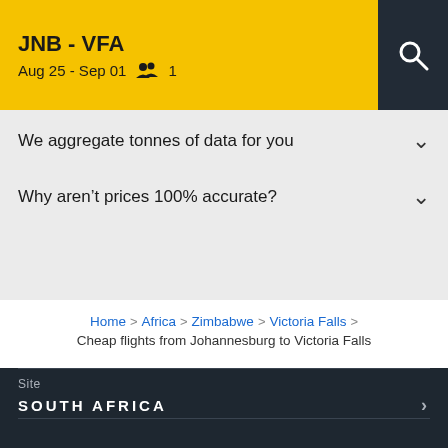JNB - VFA
Aug 25 - Sep 01  1
We aggregate tonnes of data for you
Why aren't prices 100% accurate?
Home > Africa > Zimbabwe > Victoria Falls > Cheap flights from Johannesburg to Victoria Falls
Site
SOUTH AFRICA